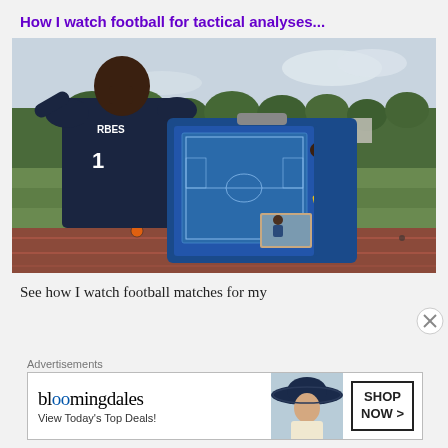How I watch football for tactical analyses...
[Figure (photo): A football player/coach wearing a dark navy jersey, viewed from behind, holding and writing on a blue tactical clipboard with a football pitch diagram, standing on a running track with green trees and a stand/bridge structure in the background.]
See how I watch football matches for my
Advertisements
[Figure (other): Bloomingdale's advertisement banner: shows bloomingdales logo text, 'View Today's Top Deals!' tagline, a woman in a wide-brim hat, and a 'SHOP NOW >' button.]